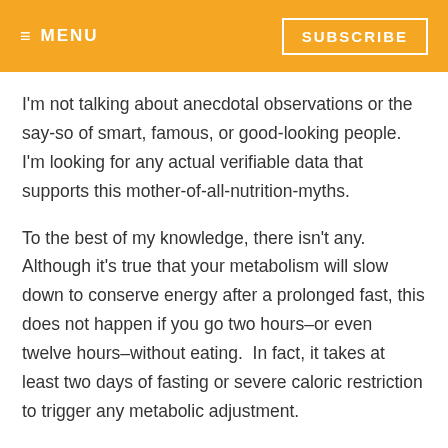≡ MENU   SUBSCRIBE
I'm not talking about anecdotal observations or the say-so of smart, famous, or good-looking people.   I'm looking for any actual verifiable data that supports this mother-of-all-nutrition-myths.
To the best of my knowledge, there isn't any.  Although it's true that your metabolism will slow down to conserve energy after a prolonged fast, this does not happen if you go two hours–or even twelve hours–without eating.  In fact, it takes at least two days of fasting or severe caloric restriction to trigger any metabolic adjustment.
Related Content: Metabolism Myths